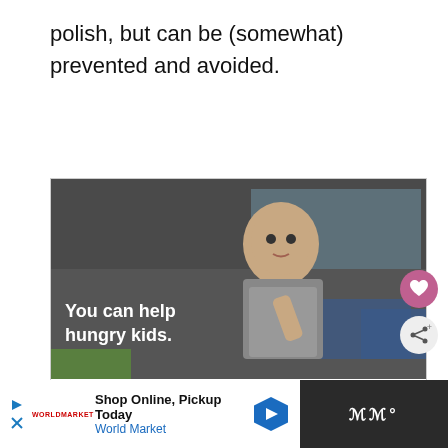polish, but can be (somewhat) prevented and avoided.
[Figure (photo): Advertisement showing a young boy eating, with text 'You can help hungry kids.' and a No Kid Hungry 'Learn How' call-to-action on an orange bar.]
[Figure (infographic): Bottom banner advertisement: Shop Online, Pickup Today - World Market, with navigation arrow icon and dark panel on right.]